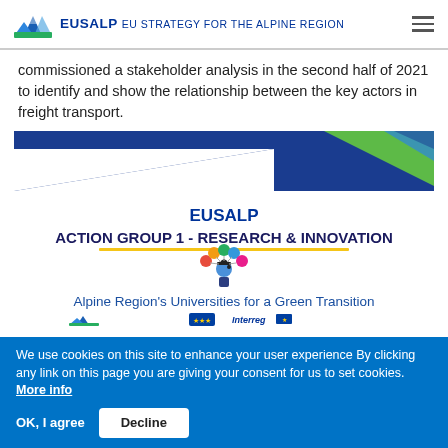EUSALP EU STRATEGY FOR THE ALPINE REGION
commissioned a stakeholder analysis in the second half of 2021 to identify and show the relationship between the key actors in freight transport.
[Figure (infographic): EUSALP Action Group 1 - Research & Innovation banner with diagonal geometric shapes in blue and green, followed by a person with icons above, and text: Alpine Region's Universities for a Green Transition]
We use cookies on this site to enhance your user experience By clicking any link on this page you are giving your consent for us to set cookies. More info
OK, I agree    Decline